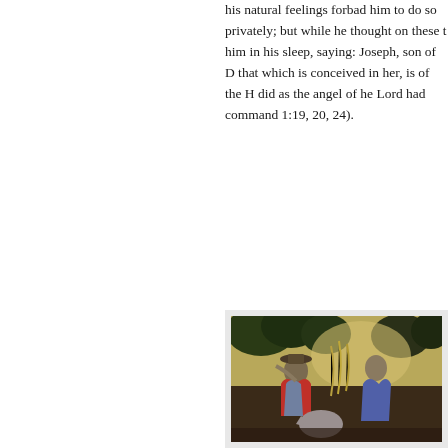his natural feelings forbad him to do so privately; but while he thought on these things, him in his sleep, saying: Joseph, son of D... that which is conceived in her, is of the H... did as the angel of he Lord had commanded... 1:19, 20, 24).
[Figure (illustration): A classical religious painting showing figures in a forest or outdoor setting, one wearing a hat with red cloak, possibly depicting the Flight into Egypt or a related biblical scene with Joseph and other figures.]